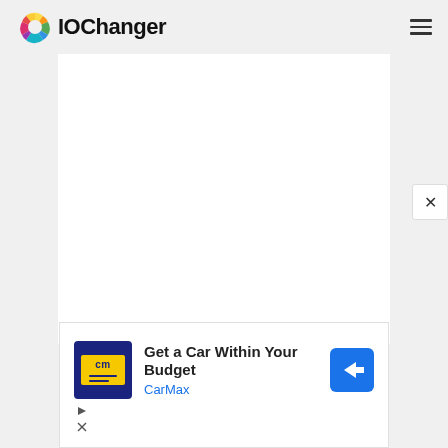IOChanger
[Figure (screenshot): Main white content area - blank white rectangle]
[Figure (screenshot): Advertisement: Get a Car Within Your Budget - CarMax with CarMax logo and navigation arrow icon]
Get a Car Within Your Budget
CarMax